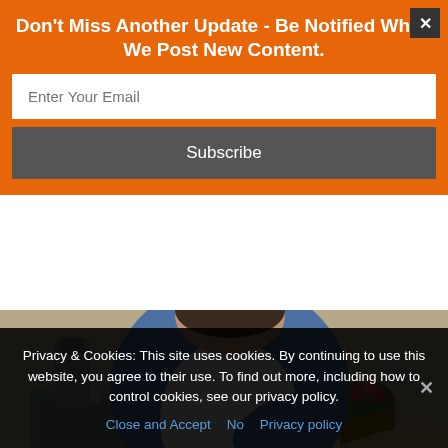Don't Miss Another Update - Be Notified When We Post New Content.
Enter Your Email
Subscribe
[Figure (photo): Person leaning over a kitchen counter, wearing a denim jacket and white apron, with a sink and small plant visible in the background]
In order to live a healthy lifestyle, one should know how to tweak or enhance the nutrients in their body. This will greatly help in improving mood and reduce the risks of
Privacy & Cookies: This site uses cookies. By continuing to use this website, you agree to their use. To find out more, including how to control cookies, see our privacy policy.
Close and Accept   No   Privacy policy